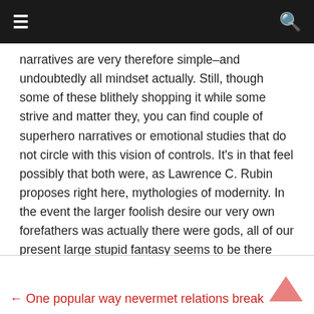≡ 🔍
narratives are very therefore simple–and undoubtedly all mindset actually. Still, though some of these blithely shopping it while some strive and matter they, you can find couple of superhero narratives or emotional studies that do not circle with this vision of controls. It's in that feel possibly that both were, as Lawrence C. Rubin proposes right here, mythologies of modernity. In the event the larger foolish desire our very own forefathers was actually there were gods, all of our present large stupid fantasy seems to be there existsn't, hence do not need all of them because we have taken their own put .
← One popular way nevermet relations break